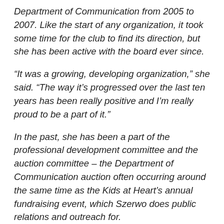Department of Communication from 2005 to 2007. Like the start of any organization, it took some time for the club to find its direction, but she has been active with the board ever since.
“It was a growing, developing organization,” she said. “The way it’s progressed over the last ten years has been really positive and I’m really proud to be a part of it.”
In the past, she has been a part of the professional development committee and the auction committee – the Department of Communication auction often occurring around the same time as the Kids at Heart’s annual fundraising event, which Szerwo does public relations and outreach for.
“All the money goes to uncompensated care at Seattle